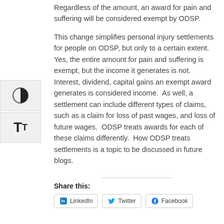Regardless of the amount, an award for pain and suffering will be considered exempt by ODSP.
This change simplifies personal injury settlements for people on ODSP, but only to a certain extent.  Yes, the entire amount for pain and suffering is exempt, but the income it generates is not.  Interest, dividend, capital gains an exempt award generates is considered income.  As well, a settlement can include different types of claims, such as a claim for loss of past wages, and loss of future wages.  ODSP treats awards for each of these claims differently.  How ODSP treats settlements is a topic to be discussed in future blogs.
Share this:
LinkedIn  Twitter  Facebook